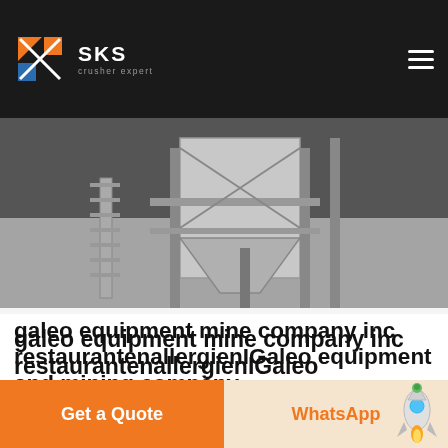SKS crusher expert
[Figure (photo): Industrial mining/crushing equipment — hopper and conveyor structure, grey metal, outdoor setting]
galeo equipment mine company inc restaurantenallergienIGaleo equipment and mining company
galeo equipment and mining co inc zionhomcoin Galeo Equipment and Mining Company Inc is an equipment rental company primarily concerned with the lease of heavy galeo equipment and mining co 09 07 32 This video is unavailable Watch Queue Queue Watch Queue Queue
Get a Quote   WhatsApp